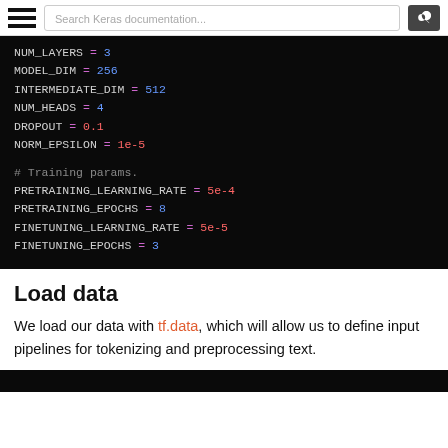Search Keras documentation...
NUM_LAYERS = 3
MODEL_DIM = 256
INTERMEDIATE_DIM = 512
NUM_HEADS = 4
DROPOUT = 0.1
NORM_EPSILON = 1e-5

# Training params.
PRETRAINING_LEARNING_RATE = 5e-4
PRETRAINING_EPOCHS = 8
FINETUNING_LEARNING_RATE = 5e-5
FINETUNING_EPOCHS = 3
Load data
We load our data with tf.data, which will allow us to define input pipelines for tokenizing and preprocessing text.